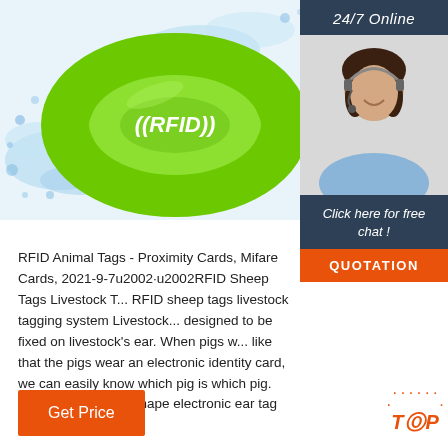[Figure (photo): Green RFID silicone wristband with white '((RFID))' text, surrounded by water splash effect on white/blue background]
[Figure (photo): Customer service agent woman wearing headset, smiling, with '24/7 Online' banner above and 'Click here for free chat!' and 'QUOTATION' button below, and a 'TOP' logo with orange dots]
RFID Animal Tags - Proximity Cards, Mifare Cards, 2021-9-7u2002·u2002RFID Sheep Tags Livestock T... RFID sheep tags livestock tagging system Livestock... designed to be fixed on livestock's ear. When pigs w... like that the pigs wear an electronic identity card, we can easily know which pig is which pig. This tag is a round shape electronic ear tag that is applied...
[Figure (other): Orange 'Get Price' button at bottom left]